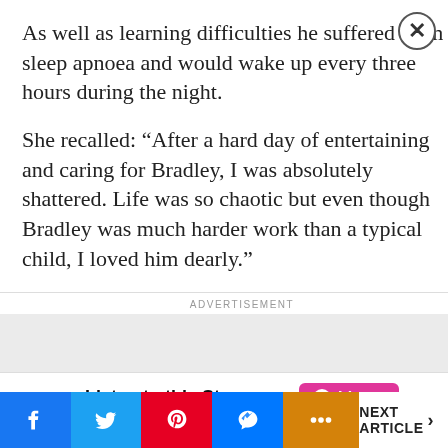As well as learning difficulties he suffered from sleep apnoea and would wake up every three hours during the night.
She recalled: “After a hard day of entertaining and caring for Bradley, I was absolutely shattered. Life was so chaotic but even though Bradley was much harder work than a typical child, I loved him dearly.”
ADVERTISEMENT
[Figure (other): Advertisement banner placeholder box]
Listen to this Story now  Listen
[Figure (infographic): Social share buttons: Facebook, Twitter, Pinterest, Messenger, More. Next Article navigation button on the right.]